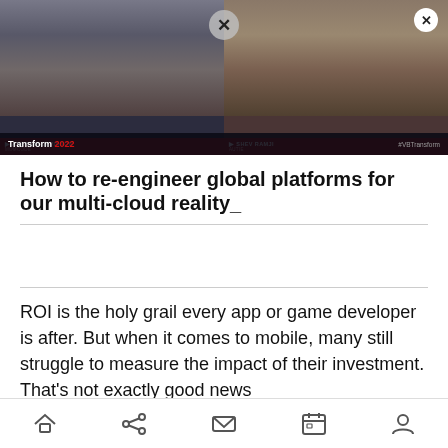[Figure (screenshot): Video thumbnail showing two people in a split-screen video call. Left person: Andrew Davidson from Momcode. Right person: Shev Ramji from Autie. Bottom bar shows 'Transform 2022' branding. X close button visible at top center and top right.]
How to re-engineer global platforms for our multi-cloud reality_
ROI is the holy grail every app or game developer is after. But when it comes to mobile, many still struggle to measure the impact of their investment. That’s not exactly good news
Home Share Mail Calendar Profile